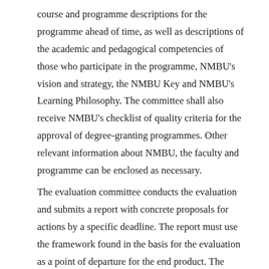course and programme descriptions for the programme ahead of time, as well as descriptions of the academic and pedagogical competencies of those who participate in the programme, NMBU's vision and strategy, the NMBU Key and NMBU's Learning Philosophy. The committee shall also receive NMBU's checklist of quality criteria for the approval of degree-granting programmes. Other relevant information about NMBU, the faculty and programme can be enclosed as necessary.
The evaluation committee conducts the evaluation and submits a report with concrete proposals for actions by a specific deadline. The report must use the framework found in the basis for the evaluation as a point of departure for the end product. The strong and weak sides of the programme